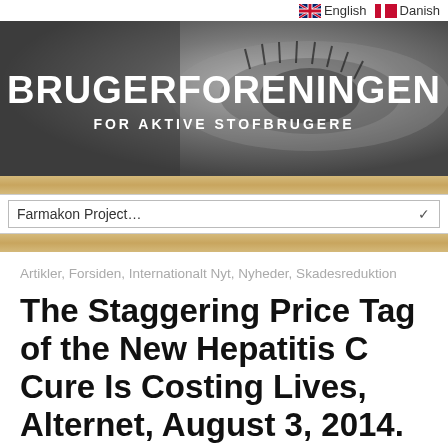[Figure (screenshot): Language selector bar with UK flag (English) and Danish flag (Danish) links in top right corner]
[Figure (screenshot): Website banner with dark grayscale close-up photo of a person's eye with eyelashes. White bold text reads BRUGERFORENINGEN and subtitle FOR AKTIVE STOFBRUGERE]
[Figure (screenshot): Dropdown navigation menu showing 'Farmakon Project...' with a chevron arrow, on a wood-grain textured background strip]
Artikler, Forsiden, Internationalt Nyt, Nyheder, Skadesreduktion
The Staggering Price Tag of the New Hepatitis C Cure Is Costing Lives, Alternet, August 3, 2014.